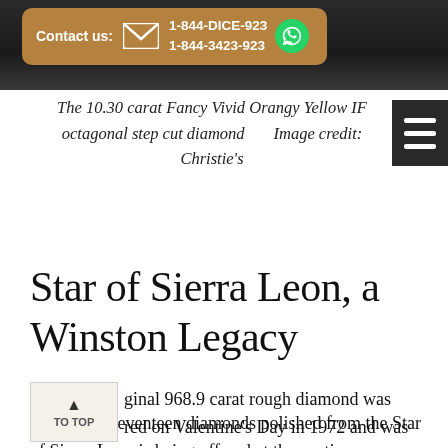Contact us: 1-844-DICE-923 / 1-844-3423-923
The 10.30 carat Fancy Vivid Orangy Yellow IF octagonal step cut diamond    Image credit: Christie's
Star of Sierra Leon, a Winston Legacy
One of the seventeen diamonds polished from the Star of Sierra Leon is being offered at the auction. ...ginal 968.9 carat rough diamond was ...ered on Valentine's Day in 1972 and was